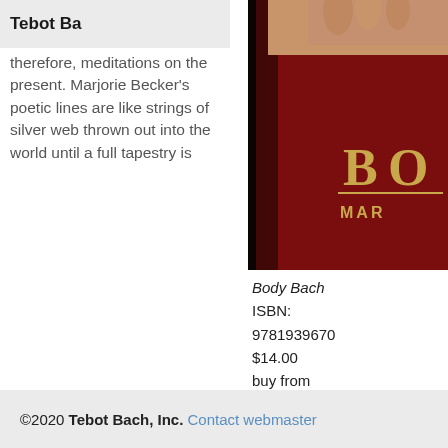Tebot Ba
therefore, meditations on the present. Marjorie Becker's poetic lines are like strings of silver web thrown out into the world until a full tapestry is
[Figure (photo): Book cover of Body Bach by Marjorie Becker, showing a dark red/crimson background with partial text 'BO' in gold and 'MAR' below it, and a person's hand visible at the top.]
Body Bach
ISBN: 9781939670
$14.00
buy from Amazon
©2020 Tebot Bach, Inc. Contact webmaster